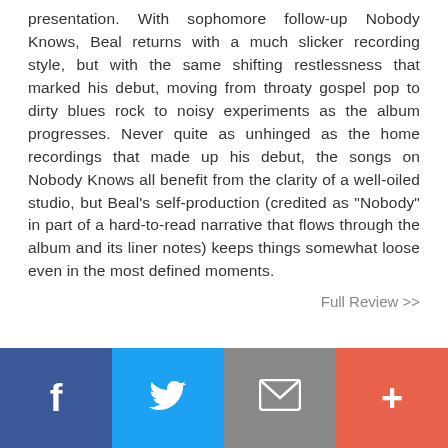presentation. With sophomore follow-up Nobody Knows, Beal returns with a much slicker recording style, but with the same shifting restlessness that marked his debut, moving from throaty gospel pop to dirty blues rock to noisy experiments as the album progresses. Never quite as unhinged as the home recordings that made up his debut, the songs on Nobody Knows all benefit from the clarity of a well-oiled studio, but Beal's self-production (credited as "Nobody" in part of a hard-to-read narrative that flows through the album and its liner notes) keeps things somewhat loose even in the most defined moments.
Full Review >>
[Figure (infographic): Social sharing bar with four buttons: Facebook (blue, f icon), Twitter (light blue, bird icon), Email (gray, envelope icon), Plus/share (red-orange, + icon)]